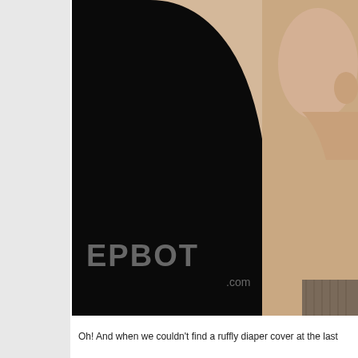[Figure (photo): Sepia-toned portrait photo of a person, partially cropped, showing face in profile and upper body against dark black background. EPBOT.com watermark visible at bottom of image.]
Oh! And when we couldn't find a ruffly diaper cover at the last